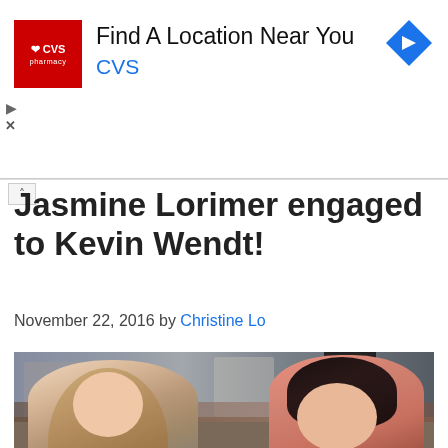[Figure (other): CVS Pharmacy advertisement banner with red CVS logo on left, text 'Find A Location Near You' and 'CVS' in blue, and a blue navigation diamond arrow icon on the right]
Jasmine Lorimer engaged to Kevin Wendt!
November 22, 2016 by Christine Lo
[Figure (photo): Photo of Jasmine Lorimer and Kevin Wendt sitting together at what appears to be a restaurant or bar, smiling at each other. Woman has long blonde hair and is wearing a grey top; man has dark curly hair and is wearing a salmon/coral v-neck shirt.]